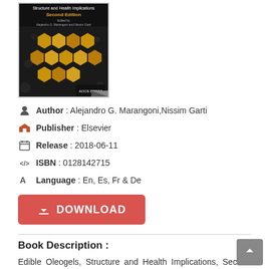[Figure (photo): Book cover of 'Edible Oleogels Structure and Health Implications Second Edition', edited by Alejandro G. Marangoni and Nissim Garti, showing honeycomb-like yellow structures on a dark background, published by AOCS Press.]
Author : Alejandro G. Marangoni,Nissim Garti
Publisher : Elsevier
Release : 2018-06-11
ISBN : 0128142715
Language : En, Es, Fr & De
[Figure (other): Red DOWNLOAD button]
Book Description :
Edible Oleogels, Structure and Health Implications, Second Edition presents a novel strategy on how to